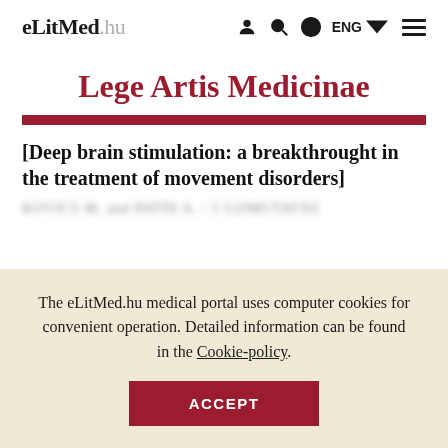eLitMed.hu | ENG navigation
Lege Artis Medicinae
[Deep brain stimulation: a breakthrought in the treatment of movement disorders]
The eLitMed.hu medical portal uses computer cookies for convenient operation. Detailed information can be found in the Cookie-policy.
ACCEPT